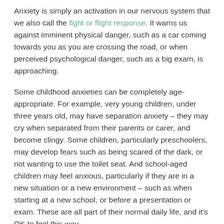Anxiety is simply an activation in our nervous system that we also call the fight or flight response. It warns us against imminent physical danger, such as a car coming towards you as you are crossing the road, or when perceived psychological danger, such as a big exam, is approaching.
Some childhood anxieties can be completely age-appropriate. For example, very young children, under three years old, may have separation anxiety – they may cry when separated from their parents or carer, and become clingy. Some children, particularly preschoolers, may develop fears such as being scared of the dark, or not wanting to use the toilet seat. And school-aged children may feel anxious, particularly if they are in a new situation or a new environment – such as when starting at a new school, or before a presentation or exam. These are all part of their normal daily life, and it's OK to feel this way.